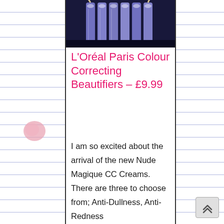[Figure (photo): Product photo showing L'Oreal Paris cosmetic tubes/bottles against a dark background]
L'Oréal Paris Colour Correcting Beautifiers – £9.99
I am so excited about the arrival of the new Nude Magique CC Creams. There are three to choose from; Anti-Dullness, Anti-Redness